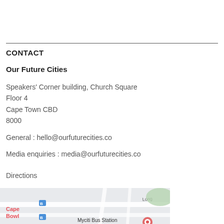CONTACT
Our Future Cities
Speakers' Corner building, Church Square
Floor 4
Cape Town CBD
8000
General : hello@ourfuturecities.co
Media enquiries : media@ourfuturecities.co
Directions
[Figure (map): Street map snippet showing Cape Town CBD area with Myciti Bus Station marker and street names including Long Street]